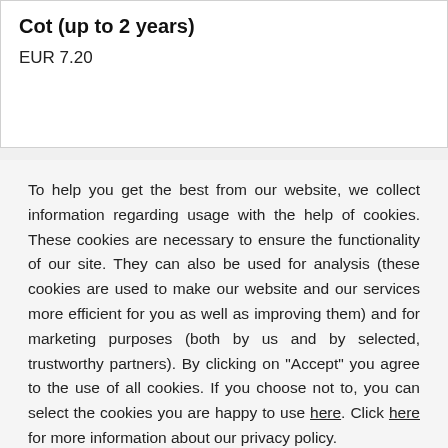Cot (up to 2 years)
EUR  7.20
To help you get the best from our website, we collect information regarding usage with the help of cookies. These cookies are necessary to ensure the functionality of our site. They can also be used for analysis (these cookies are used to make our website and our services more efficient for you as well as improving them) and for marketing purposes (both by us and by selected, trustworthy partners). By clicking on "Accept" you agree to the use of all cookies. If you choose not to, you can select the cookies you are happy to use here. Click here for more information about our privacy policy.
Accept
Decline
Configure